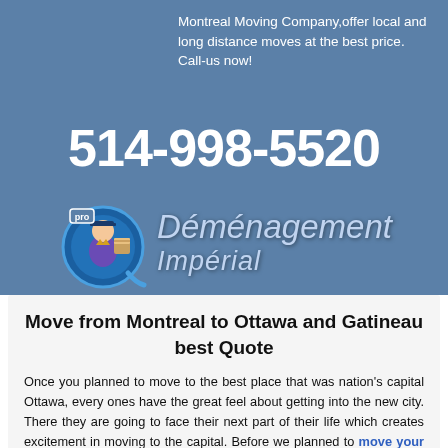Montreal Moving Company,offer local and long distance moves at the best price. Call-us now!
514-998-5520
[Figure (logo): Pro Déménagement Impérial logo with a cartoon mover character inside a circular Q emblem, with stylized italic text 'Déménagement Impérial']
Move from Montreal to Ottawa and Gatineau best Quote
Once you planned to move to the best place that was nation's capital Ottawa, every ones have the great feel about getting into the new city. There they are going to face their next part of their life which creates excitement in moving to the capital. Before we planned to move your piano , house or office to the Ottawa from Montreal, we were having such a great work of